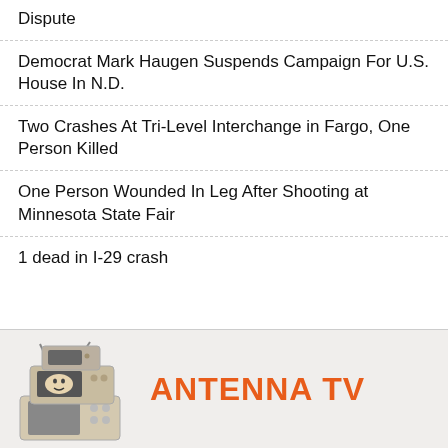Dispute
Democrat Mark Haugen Suspends Campaign For U.S. House In N.D.
Two Crashes At Tri-Level Interchange in Fargo, One Person Killed
One Person Wounded In Leg After Shooting at Minnesota State Fair
1 dead in I-29 crash
[Figure (advertisement): Antenna TV advertisement banner with stacked vintage televisions on the left and 'ANTENNA TV' text in large orange letters on the right]